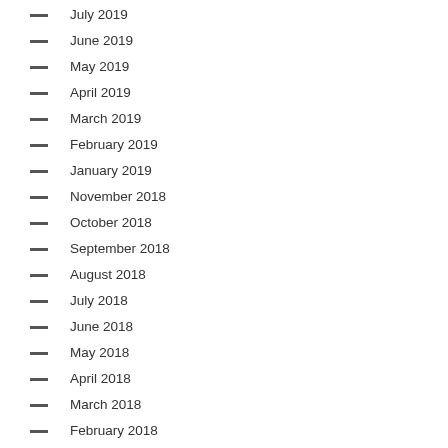July 2019
June 2019
May 2019
April 2019
March 2019
February 2019
January 2019
November 2018
October 2018
September 2018
August 2018
July 2018
June 2018
May 2018
April 2018
March 2018
February 2018